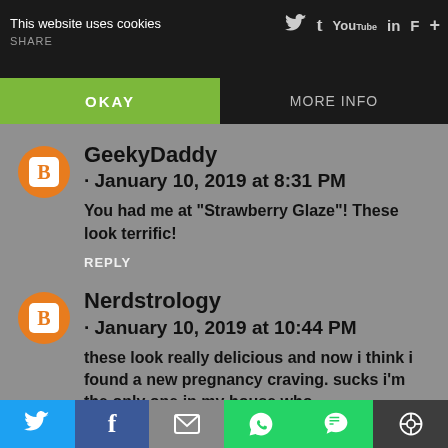This website uses cookies  SHARE
OKAY  MORE INFO
GeekyDaddy · January 10, 2019 at 8:31 PM
You had me at "Strawberry Glaze"! These look terrific!
REPLY
Nerdstrology · January 10, 2019 at 10:44 PM
these look really delicious and now i think i found a new pregnancy craving. sucks i'm the only one in my house who
[Twitter] [Facebook] [Email] [WhatsApp] [SMS] [Other]